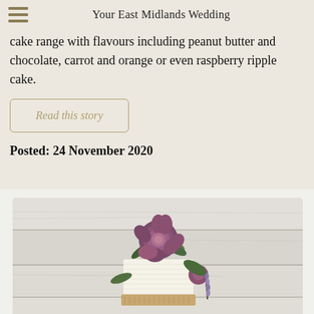Your East Midlands Wedding
cake range with flavours including peanut butter and chocolate, carrot and orange or even raspberry ripple cake.
Read this story
Posted: 24 November 2020
[Figure (photo): A wedding cake decorated with purple peony flowers and green foliage, on a white wooden background.]